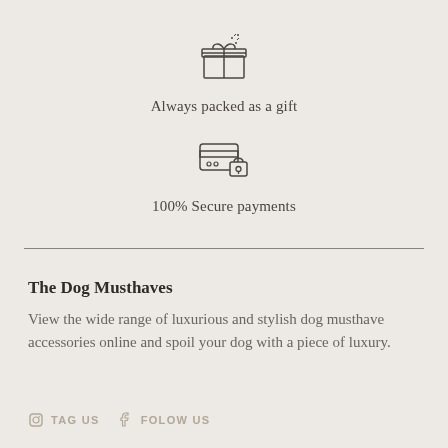[Figure (illustration): Gift box icon with decorative lines, line art style]
Always packed as a gift
[Figure (illustration): Credit card with lock icon, line art style]
100% Secure payments
The Dog Musthaves
View the wide range of luxurious and stylish dog musthave accessories online and spoil your dog with a piece of luxury.
TAG US   FOLOW US